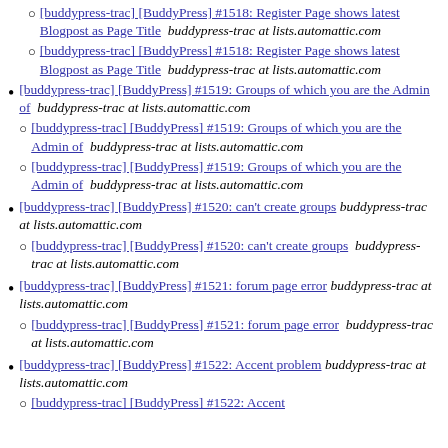[buddypress-trac] [BuddyPress] #1518: Register Page shows latest Blogpost as Page Title  buddypress-trac at lists.automattic.com
[buddypress-trac] [BuddyPress] #1518: Register Page shows latest Blogpost as Page Title  buddypress-trac at lists.automattic.com
[buddypress-trac] [BuddyPress] #1519: Groups of which you are the Admin of  buddypress-trac at lists.automattic.com
[buddypress-trac] [BuddyPress] #1519: Groups of which you are the Admin of  buddypress-trac at lists.automattic.com
[buddypress-trac] [BuddyPress] #1519: Groups of which you are the Admin of  buddypress-trac at lists.automattic.com
[buddypress-trac] [BuddyPress] #1520: can't create groups  buddypress-trac at lists.automattic.com
[buddypress-trac] [BuddyPress] #1520: can't create groups  buddypress-trac at lists.automattic.com
[buddypress-trac] [BuddyPress] #1521: forum page error  buddypress-trac at lists.automattic.com
[buddypress-trac] [BuddyPress] #1521: forum page error  buddypress-trac at lists.automattic.com
[buddypress-trac] [BuddyPress] #1522: Accent problem  buddypress-trac at lists.automattic.com
[buddypress-trac] [BuddyPress] #1522: Accent problem (partial)